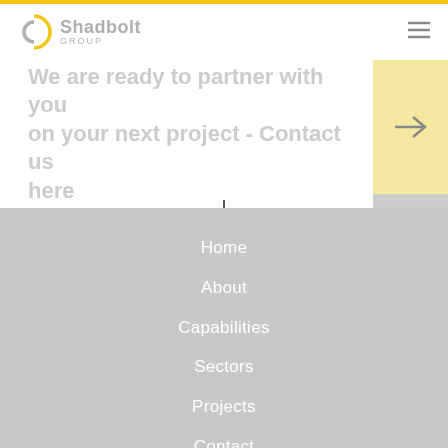Shadbolt Group
We are ready to partner with you on your next project - Contact us here
Home
About
Capabilities
Sectors
Projects
Contact
Privacy Policy